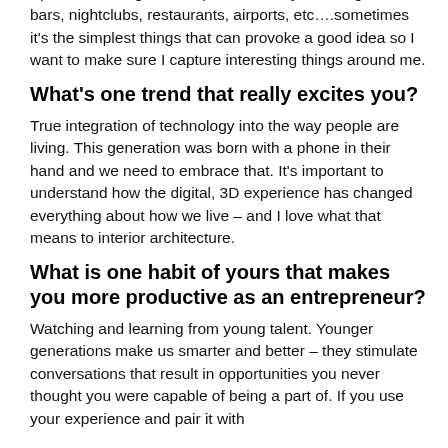Specific to design, I take pictures everywhere I go. In bars, nightclubs, restaurants, airports, etc….sometimes it's the simplest things that can provoke a good idea so I want to make sure I capture interesting things around me.
What's one trend that really excites you?
True integration of technology into the way people are living. This generation was born with a phone in their hand and we need to embrace that. It's important to understand how the digital, 3D experience has changed everything about how we live – and I love what that means to interior architecture.
What is one habit of yours that makes you more productive as an entrepreneur?
Watching and learning from young talent. Younger generations make us smarter and better – they stimulate conversations that result in opportunities you never thought you were capable of being a part of. If you use your experience and pair it with